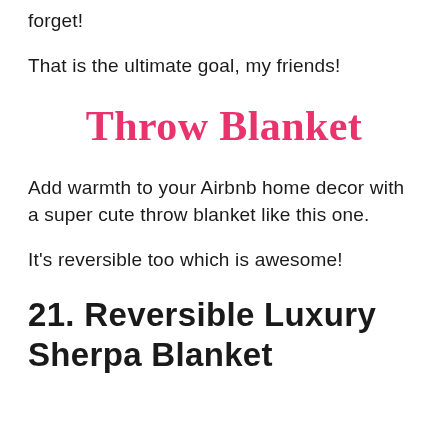forget!
That is the ultimate goal, my friends!
Throw Blanket
Add warmth to your Airbnb home decor with a super cute throw blanket like this one.
It's reversible too which is awesome!
21. Reversible Luxury Sherpa Blanket